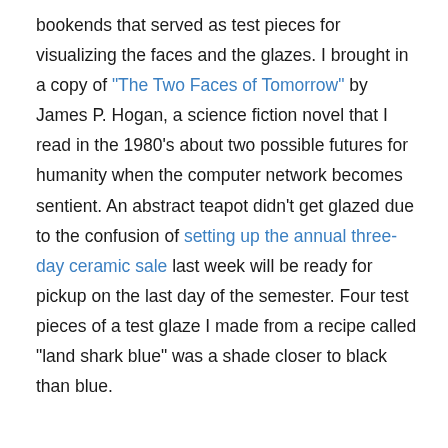bookends that served as test pieces for visualizing the faces and the glazes. I brought in a copy of "The Two Faces of Tomorrow" by James P. Hogan, a science fiction novel that I read in the 1980's about two possible futures for humanity when the computer network becomes sentient. An abstract teapot didn't get glazed due to the confusion of setting up the annual three-day ceramic sale last week will be ready for pickup on the last day of the semester. Four test pieces of a test glaze I made from a recipe called "land shark blue" was a shade closer to black than blue.